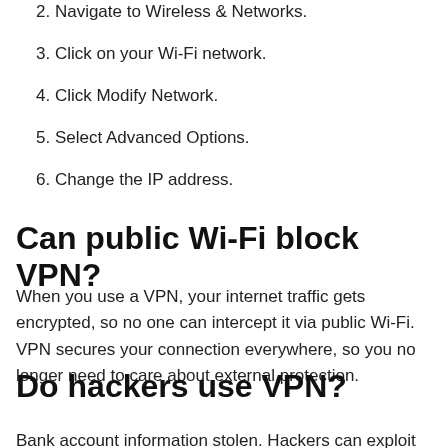2. Navigate to Wireless & Networks.
3. Click on your Wi-Fi network.
4. Click Modify Network.
5. Select Advanced Options.
6. Change the IP address.
Can public Wi-Fi block VPN?
When you use a VPN, your internet traffic gets encrypted, so no one can intercept it via public Wi-Fi. VPN secures your connection everywhere, so you no longer need to care about external protection.
Do hackers use VPN?
Bank account information stolen. Hackers can exploit low-